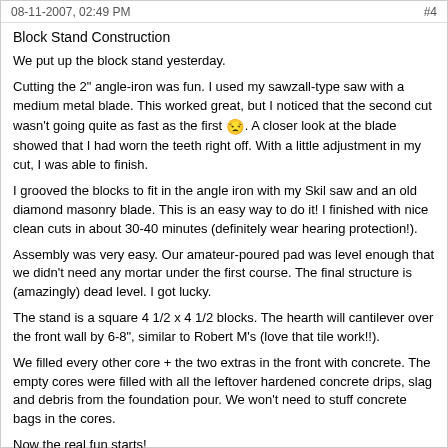08-11-2007, 02:49 PM    #4
Block Stand Construction
We put up the block stand yesterday.
Cutting the 2" angle-iron was fun. I used my sawzall-type saw with a medium metal blade. This worked great, but I noticed that the second cut wasn't going quite as fast as the first 😒. A closer look at the blade showed that I had worn the teeth right off. With a little adjustment in my cut, I was able to finish.
I grooved the blocks to fit in the angle iron with my Skil saw and an old diamond masonry blade. This is an easy way to do it! I finished with nice clean cuts in about 30-40 minutes (definitely wear hearing protection!).
Assembly was very easy. Our amateur-poured pad was level enough that we didn't need any mortar under the first course. The final structure is (amazingly) dead level. I got lucky.
The stand is a square 4 1/2 x 4 1/2 blocks. The hearth will cantilever over the front wall by 6-8", similar to Robert M's (love that tile work!!).
We filled every other core + the two extras in the front with concrete. The empty cores were filled with all the leftover hardened concrete drips, slag and debris from the foundation pour. We won't need to stuff concrete bags in the cores.
Now the real fun starts!
Ken